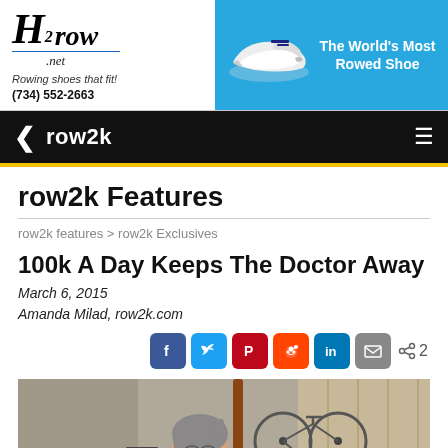[Figure (illustration): H2row.net advertisement banner: rowing shoes brand logo on left with italic H2 row branding, tagline 'Rowing shoes that fit!' and phone number (734) 552-2663. Right side shows a white rowing shoe on a blue background with text 'The World's Most Rowed Shoe'.]
row2k
row2k Features
row2k features > row2k Exclusives
100k A Day Keeps The Doctor Away
March 6, 2015
Amanda Milad, row2k.com
[Figure (screenshot): Social sharing icons: Facebook (blue), Twitter (light blue), Pinterest (red), Reddit (orange-red), LinkedIn (blue), Email (gray), and share count showing < 2]
[Figure (photo): Woman with gray hair and glasses sitting in a garage/basement setting with a bicycle visible in the background. She is wearing an orange/peach shirt.]